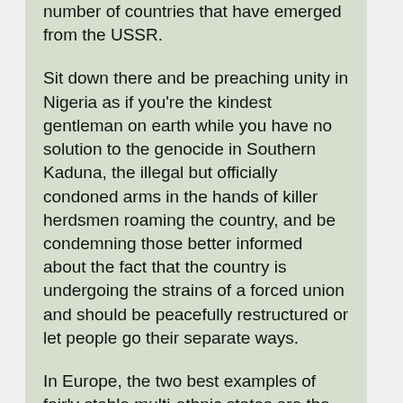number of countries that have emerged from the USSR.
Sit down there and be preaching unity in Nigeria as if you're the kindest gentleman on earth while you have no solution to the genocide in Southern Kaduna, the illegal but officially condoned arms in the hands of killer herdsmen roaming the country, and be condemning those better informed about the fact that the country is undergoing the strains of a forced union and should be peacefully restructured or let people go their separate ways.
In Europe, the two best examples of fairly stable multi-ethnic states are the UK and Switzerland. The former is led by reasonable men who permitted regional autonomy to the Irish, the Scots and the Welsh, while the English dominate Westminster. That's something some of us are asking for, but you're fighting against it in your own country wracked by ethnic crisis. Your own people are better off under